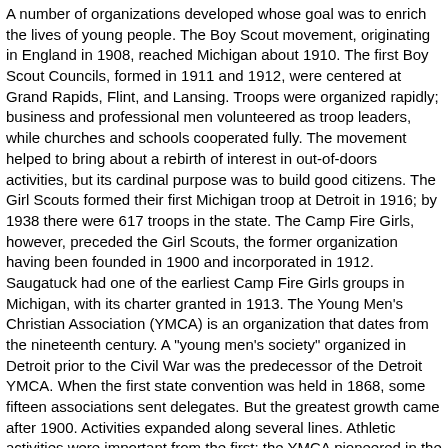A number of organizations developed whose goal was to enrich the lives of young people. The Boy Scout movement, originating in England in 1908, reached Michigan about 1910. The first Boy Scout Councils, formed in 1911 and 1912, were centered at Grand Rapids, Flint, and Lansing. Troops were organized rapidly; business and professional men volunteered as troop leaders, while churches and schools cooperated fully. The movement helped to bring about a rebirth of interest in out-of-doors activities, but its cardinal purpose was to build good citizens. The Girl Scouts formed their first Michigan troop at Detroit in 1916; by 1938 there were 617 troops in the state. The Camp Fire Girls, however, preceded the Girl Scouts, the former organization having been founded in 1900 and incorporated in 1912. Saugatuck had one of the earliest Camp Fire Girls groups in Michigan, with its charter granted in 1913. The Young Men's Christian Association (YMCA) is an organization that dates from the nineteenth century. A "young men's society" organized in Detroit prior to the Civil War was the predecessor of the Detroit YMCA. When the first state convention was held in 1868, some fifteen associations sent delegates. But the greatest growth came after 1900. Activities expanded along several lines. Athletic activities were important from the first; the YMCA pioneered in the introduction of basketball. As early as 1903 the Jackson and Grand Rapids associations were operating boys' camps. Camp Hayo-went-ha, built on Torch Lake north of Traverse City and opened in 1904, is reputed to be the first permanent boys' camp in the western states. The camp movement grew by leaps and bounds after World War I, with many different organizations sponsoring summer camps for boys and girls. The first YWCA was organized in 1885 at Kalamazoo. Through a program of physical training, education, and social activities the YWCA sought to provide a wholesome center for the use of young women employed away from home. By 1934 a total of seventeen cities had YWCA organizations in Michigan.